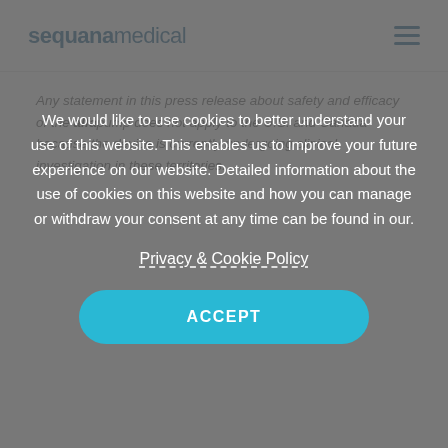sequanamedical
Any statement in this press release about safety and efficacy of the alfapump does not apply to the U.S. and Canada because the device is currently undergoing clinical investigation in these territories.
We would like to use cookies to better understand your use of this website. This enables us to improve your future experience on our website. Detailed information about the use of cookies on this website and how you can manage or withdraw your consent at any time can be found in our. Privacy & Cookie Policy ACCEPT